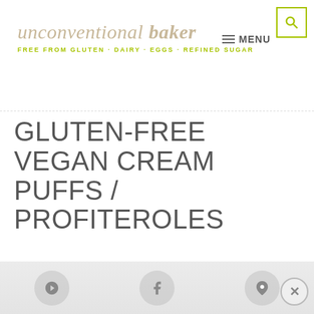unconventional baker — FREE FROM GLUTEN · DAIRY · EGGS · REFINED SUGAR
GLUTEN-FREE VEGAN CREAM PUFFS / PROFITEROLES
BY AUDREY | 75 COMMENTS
JUMP TO RECIPE